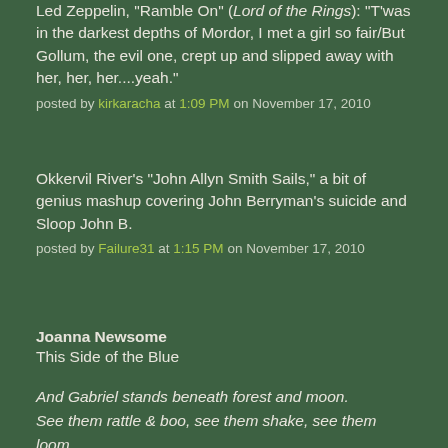Led Zeppelin, "Ramble On" (Lord of the Rings): "T'was in the darkest depths of Mordor, I met a girl so fair/But Gollum, the evil one, crept up and slipped away with her, her, her....yeah."
posted by kirkaracha at 1:09 PM on November 17, 2010
Okkervil River's "John Allyn Smith Sails," a bit of genius mashup covering John Berryman's suicide and Sloop John B.
posted by Failure31 at 1:15 PM on November 17, 2010
Joanna Newsome
This Side of the Blue
And Gabriel stands beneath forest and moon.
See them rattle & boo, see them shake, see them loom.
See him fashion a cap from a page of Camus;